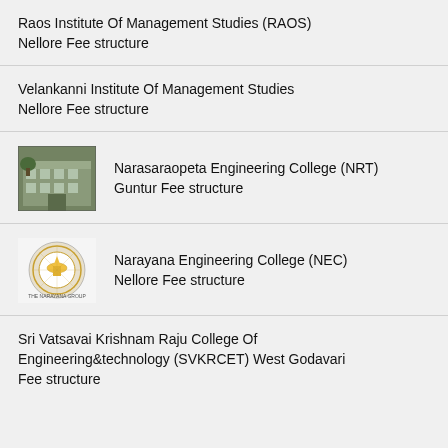Raos Institute Of Management Studies (RAOS) Nellore Fee structure
Velankanni Institute Of Management Studies Nellore Fee structure
Narasaraopeta Engineering College (NRT) Guntur Fee structure
Narayana Engineering College (NEC) Nellore Fee structure
Sri Vatsavai Krishnam Raju College Of Engineering&technology (SVKRCET) West Godavari Fee structure